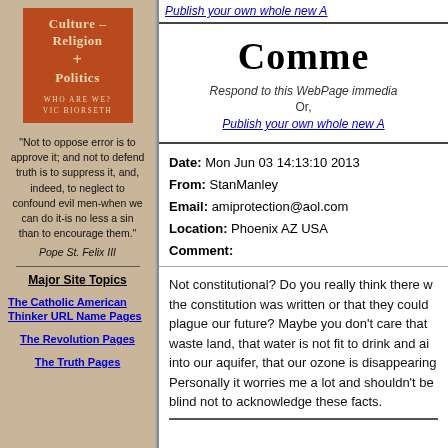[Figure (illustration): Book cover for 'Culture - Religion + Politics: Who Are We?' by Vic Biorseth, shown as a reddish-brown rectangular cover with cream text]
"Not to oppose error is to approve it; and not to defend truth is to suppress it, and, indeed, to neglect to confound evil men-when we can do it-is no less a sin than to encourage them."
Pope St. Felix III
Major Site Topics
The Catholic American Thinker URL Name Pages
The Revolution Pages
The Truth Pages
Publish your own whole new A
Comme
Respond to this WebPage immedie
Or,
Publish your own whole new A
Date:  Mon Jun 03 14:13:10 2013
From:  StanManley
Email:  amiprotection@aol.com
Location:  Phoenix AZ USA
Comment:
Not constitutional? Do you really think there w the constitution was written or that they could plague our future? Maybe you don't care that waste land, that water is not fit to drink and ai into our aquifer, that our ozone is disappearing Personally it worries me a lot and shouldn't be blind not to acknowledge these facts.